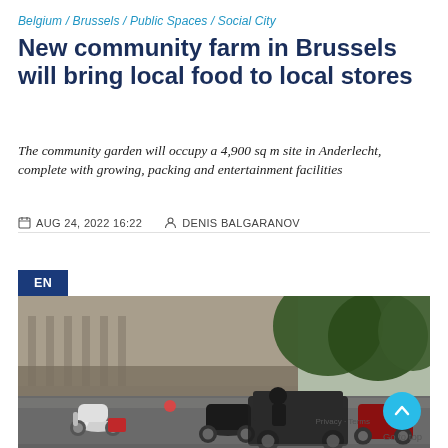Belgium / Brussels / Public Spaces / Social City
New community farm in Brussels will bring local food to local stores
The community garden will occupy a 4,900 sq m site in Anderlecht, complete with growing, packing and entertainment facilities
AUG 24, 2022 16:22   DENIS BALGARANOV
EN
[Figure (photo): Street scene in Brussels showing motorcycles and scooters parked in front of a classical stone building, with green trees in the background]